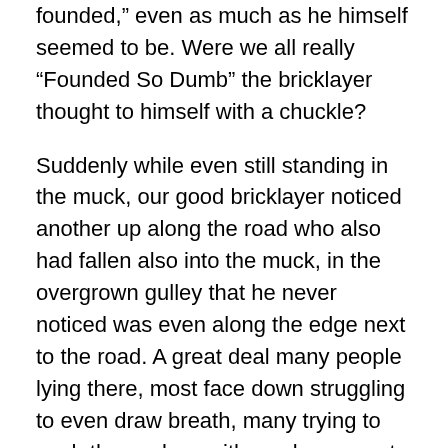founded,” even as much as he himself seemed to be. Were we all really “Founded So Dumb” the bricklayer thought to himself with a chuckle?
Suddenly while even still standing in the muck, our good bricklayer noticed another up along the road who also had fallen also into the muck, in the overgrown gulley that he never noticed was even along the edge next to the road. A great deal many people lying there, most face down struggling to even draw breath, many trying to push themselves with weak arms out of wet mud, or kicking in slippery black tar like stench trying to crawl out, all were in pain, all were crying and suffering. But also, he saw from this vantage point, the most subtle irregularities that were in the road, what seemed like the many slight flaws that were there, especially along the edge that may have caused these poor people to stumble and then fall into the